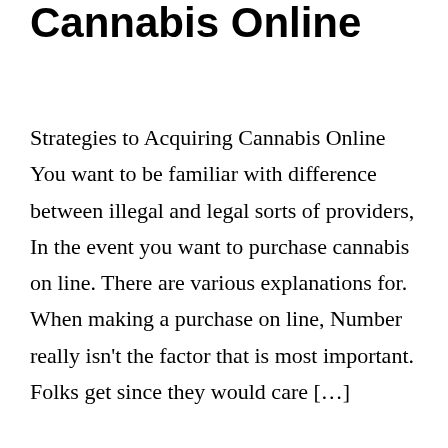Cannabis Online
Strategies to Acquiring Cannabis Online You want to be familiar with difference between illegal and legal sorts of providers, In the event you want to purchase cannabis on line. There are various explanations for. When making a purchase on line, Number really isn't the factor that is most important. Folks get since they would care […]